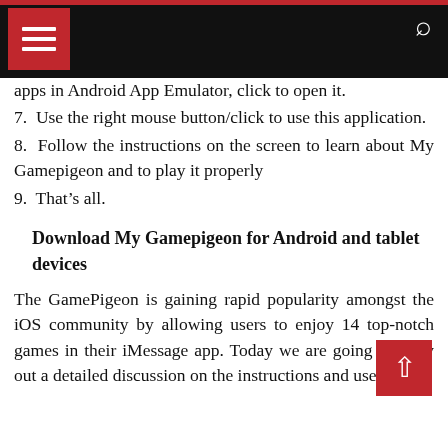Navigation header with menu and search icons
apps in Android App Emulator, click to open it.
7. Use the right mouse button/click to use this application.
8. Follow the instructions on the screen to learn about My Gamepigeon and to play it properly
9. That’s all.
Download My Gamepigeon for Android and tablet devices
The GamePigeon is gaining rapid popularity amongst the iOS community by allowing users to enjoy 14 top-notch games in their iMessage app. Today we are going to carry out a detailed discussion on the instructions and useful